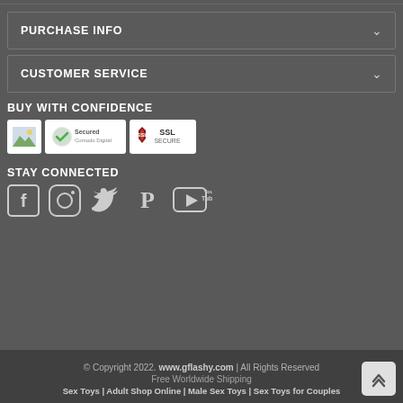PURCHASE INFO
CUSTOMER SERVICE
BUY WITH CONFIDENCE
[Figure (illustration): Trust badges: landscape thumbnail, Secured (Comodo/Norton style checkmark badge), SSL Secure shield badge]
STAY CONNECTED
[Figure (illustration): Social media icons: Facebook, Instagram, Twitter, Pinterest, YouTube]
© Copyright 2022. www.gflashy.com | All Rights Reserved
Free Worldwide Shipping
Sex Toys | Adult Shop Online | Male Sex Toys | Sex Toys for Couples